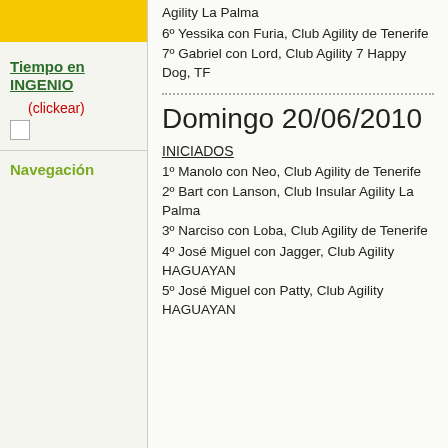[Figure (other): Yellow decorative block in left column]
Tiempo en INGENIO
(clickear)
[Figure (other): Broken image placeholder]
Navegación
Agility La Palma
6º Yessika con Furia, Club Agility de Tenerife
7º Gabriel con Lord, Club Agility 7 Happy Dog, TF
Domingo 20/06/2010
INICIADOS
1º Manolo con Neo, Club Agility de Tenerife
2º Bart con Lanson, Club Insular Agility La Palma
3º Narciso con Loba, Club Agility de Tenerife
4º José Miguel con Jagger, Club Agility HAGUAYAN
5º José Miguel con Patty, Club Agility HAGUAYAN